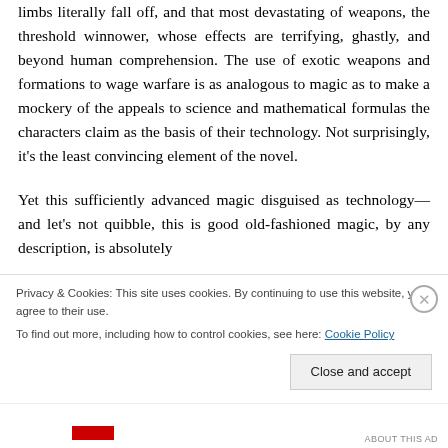limbs literally fall off, and that most devastating of weapons, the threshold winnower, whose effects are terrifying, ghastly, and beyond human comprehension. The use of exotic weapons and formations to wage warfare is as analogous to magic as to make a mockery of the appeals to science and mathematical formulas the characters claim as the basis of their technology. Not surprisingly, it's the least convincing element of the novel.
Yet this sufficiently advanced magic disguised as technology—and let's not quibble, this is good old-fashioned magic, by any description—is absolutely...
Privacy & Cookies: This site uses cookies. By continuing to use this website, you agree to their use.
To find out more, including how to control cookies, see here: Cookie Policy